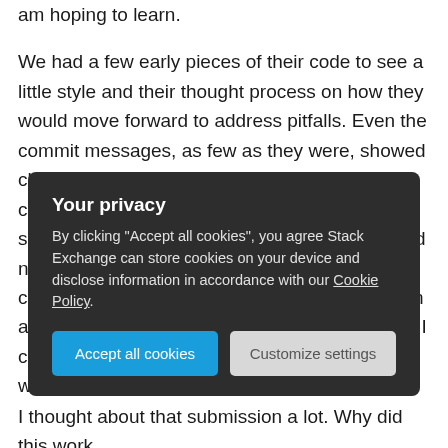am hoping to learn.
We had a few early pieces of their code to see a little style and their thought process on how they would move forward to address pitfalls. Even the commit messages, as few as they were, showed clarity and consideration for the reader. I compared the factors that became clear on this submission to other more finished examples and noticed that I got just as much of a view into the candidate in this submission with an explanation as I did in others with unanimous approvals. So I copied the three paragraphs from the candidate with my thoughts, a link before I three
[Figure (other): Cookie consent overlay with dark background. Title: 'Your privacy'. Body text: 'By clicking "Accept all cookies", you agree Stack Exchange can store cookies on your device and disclose information in accordance with our Cookie Policy.' Two buttons: 'Accept all cookies' (blue) and 'Customize settings' (light gray).]
I thought about that submission a lot. Why did this work